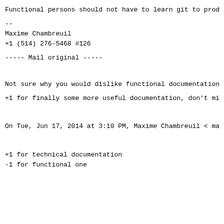Functional persons should not have to learn git to produce do
--
Maxime Chambreuil
+1 (514) 276-5468 #126
----- Mail original -----
Not sure why you would dislike functional documentation?
+1 for finally some more useful documentation, don't mind the
On Tue, Jun 17, 2014 at 3:10 PM, Maxime Chambreuil < maxime.c
+1 for technical documentation
-1 for functional one